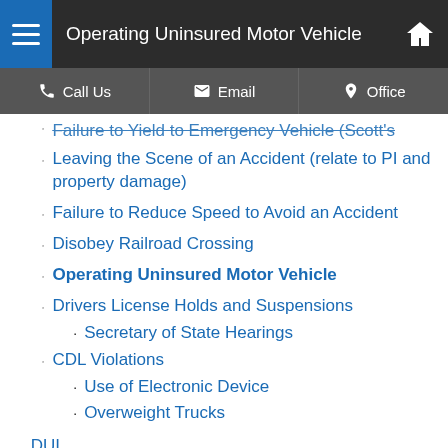Operating Uninsured Motor Vehicle
Failure to Yield to Emergency Vehicle (Scott's Law)
Leaving the Scene of an Accident (relate to PI and property damage)
Failure to Reduce Speed to Avoid an Accident
Disobey Railroad Crossing
Operating Uninsured Motor Vehicle
Drivers License Holds and Suspensions
Secretary of State Hearings
CDL Violations
Use of Electronic Device
Overweight Trucks
DUI
Expungements